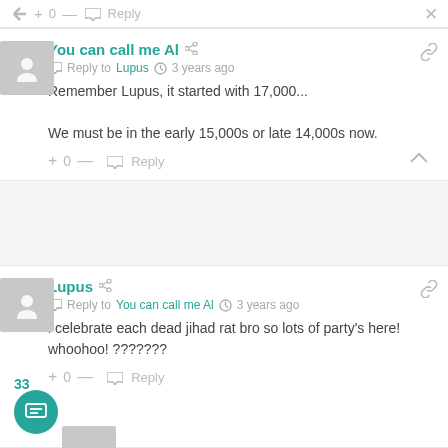+ 0 — Reply ✕
You can call me Al — Reply to Lupus · 3 years ago
Remember Lupus, it started with 17,000...
We must be in the early 15,000s or late 14,000s now.
+ 0 — Reply
Lupus — Reply to You can call me Al · 3 years ago
i celebrate each dead jihad rat bro so lots of party's here! whoohoo! ???????
+ 0 — Reply